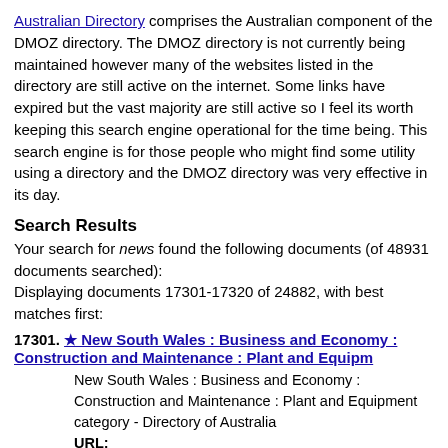Australian Directory comprises the Australian component of the DMOZ directory. The DMOZ directory is not currently being maintained however many of the websites listed in the directory are still active on the internet. Some links have expired but the vast majority are still active so I feel its worth keeping this search engine operational for the time being. This search engine is for those people who might find some utility using a directory and the DMOZ directory was very effective in its day.
Search Results
Your search for news found the following documents (of 48931 documents searched):
Displaying documents 17301-17320 of 24882, with best matches first:
17301. ★ New South Wales : Business and Economy : Construction and Maintenance : Plant and Equipm
New South Wales : Business and Economy : Construction and Maintenance : Plant and Equipment category - Directory of Australia
URL:
https://www.australian1.com/directory/New_South_Wales/Business_and_Economy/Construction_and_Maintenance/Plant_and_Equipment/13KB - 07 Aug 2003